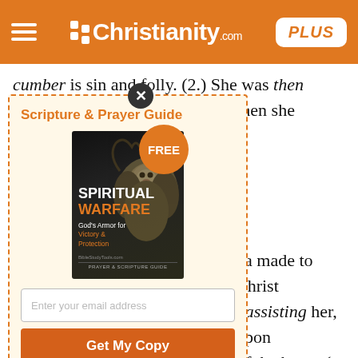Christianity.com PLUS
cumber is sin and folly. (2.) She was then cumbered about much serving when she should have been at Christ's feet to hear his word; that is then a snare to us which hinders us seeking God and getting good from him.
[Figure (other): Popup advertisement for Scripture & Prayer Guide - Spiritual Warfare: God's Armor for Victory & Protection. Shows book cover with lion image and FREE badge. Contains email signup field and 'Get My Copy' button. Fine print reads: *Plus get daily updates and special offers from Christianity.com! Terms]
a made to Christ t assisting her, upon of the house (v. 40): my sister, who is ng things done well, herefore dismiss her her come and help